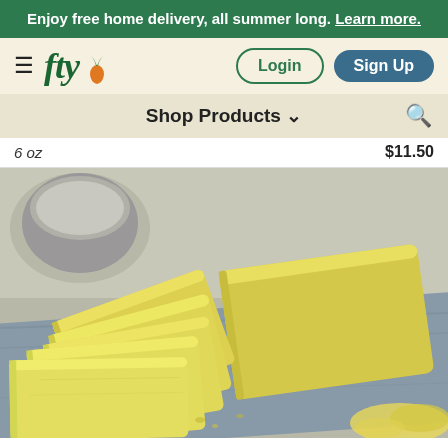Enjoy free home delivery, all summer long. Learn more.
[Figure (logo): fty grocery app logo with carrot icon, hamburger menu, Login and Sign Up buttons]
Shop Products
6 oz   $11.50
[Figure (photo): Photo of sliced yellow cheese blocks arranged on a light blue/gray wooden board, with a marble surface in the background]